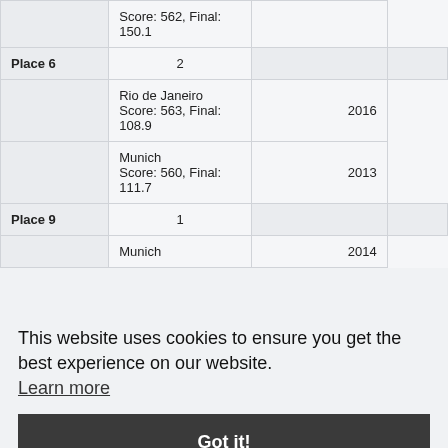| Place | Count | Event/Score | Year |
| --- | --- | --- | --- |
|  |  | Score: 562, Final: 150.1 |  |
| Place 6 | 2 |  |  |
|  |  | Rio de Janeiro
Score: 563, Final: 108.9 | 2016 |
|  |  | Munich
Score: 560, Final: 111.7 | 2013 |
| Place 9 | 1 |  |  |
|  |  | Munich | 2014 |
This website uses cookies to ensure you get the best experience on our website. Learn more
Got it!